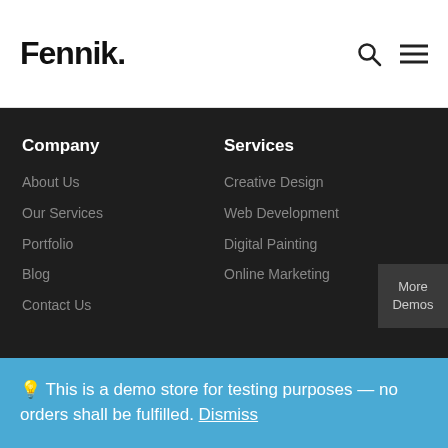Fennik.
Company
About Us
Our Services
Portfolio
Blog
Contact Us
Services
Creative Design
Web Development
Digital Painting
Online Marketing
More Demos
💡 This is a demo store for testing purposes — no orders shall be fulfilled. Dismiss